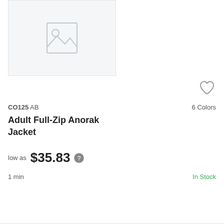[Figure (illustration): Placeholder image box with mountain/image icon inside a light gray rectangle]
[Figure (illustration): Heart/favorite icon outline]
CO125 AB
6 Colors
Adult Full-Zip Anorak Jacket
low as $35.83 ?
1 min
In Stock